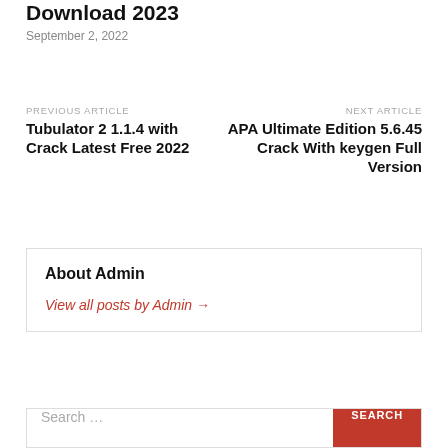Download 2023
September 2, 2022
PREVIOUS ARTICLE
Tubulator 2 1.1.4 with Crack Latest Free 2022
NEXT ARTICLE
APA Ultimate Edition 5.6.45 Crack With keygen Full Version
About Admin
View all posts by Admin →
Search …